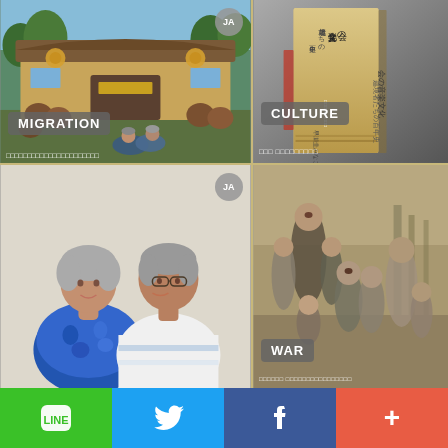[Figure (photo): Photo of a Japanese winery entrance building with barrels, two people sitting in front. Tagged JA. Label: MIGRATION. Japanese text caption below.]
[Figure (photo): Close-up photo of a Japanese book spine with kanji text about music culture. Label: CULTURE. Japanese text caption below.]
[Figure (photo): Portrait photo of an elderly Japanese couple (woman in blue floral dress, man in white polo shirt). Tagged JA.]
[Figure (photo): Black and white vintage photo of a Japanese family group (woman with several children). Label: WAR. Japanese text caption below.]
LINE  Twitter  Facebook  +